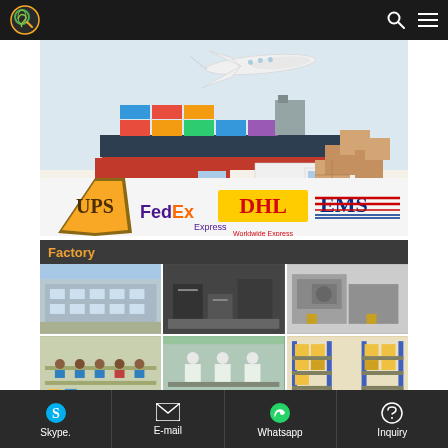Navigation bar with logo, search icon, and menu icon
[Figure (photo): Shipping banner showing airplane, cargo ship, truck, van, cardboard boxes, and logos: UPS, FedEx Express, DHL Worldwide Express, EMS]
Factory
[Figure (photo): Factory building exterior - multi-story industrial building]
[Figure (photo): Factory interior - machinery and equipment on assembly floor]
[Figure (photo): Factory interior - large injection molding machines]
[Figure (photo): Factory floor - workers at assembly line tables]
[Figure (photo): Factory clean room - workers in white suits at production line]
[Figure (photo): Warehouse - shelving with yellow and blue storage racks]
Skype.    E-mail    Whatsapp    Inquiry